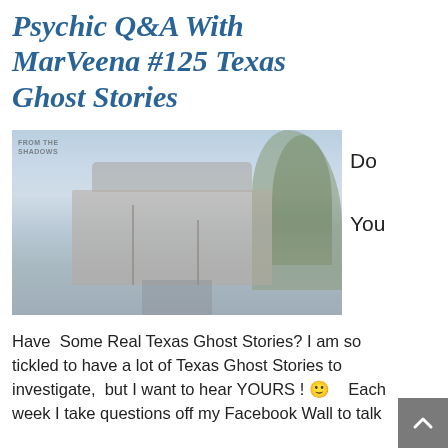Psychic Q&A With MarVeena #125 Texas Ghost Stories
[Figure (photo): Faded/washed-out photo of a historic building with flagpoles and trees, viewed from a driveway. Watermark text reads 'FROM THE SHADOWS' in the upper left corner.]
Do

You
Have  Some Real Texas Ghost Stories? I am so tickled to have a lot of Texas Ghost Stories to investigate,  but I want to hear YOURS !  🙂    Each week I take questions off my Facebook Wall to talk